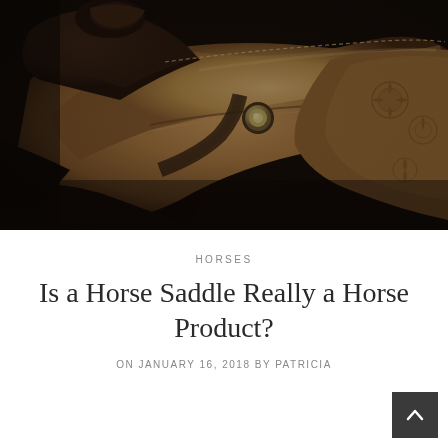[Figure (photo): Close-up photograph of a western leather horse saddle with decorative silver conchos and tooled leather, shot in dark moody lighting with warm brown tones against a black background.]
HORSES
Is a Horse Saddle Really a Horse Product?
ON JANUARY 16, 2018 BY PATRICIA